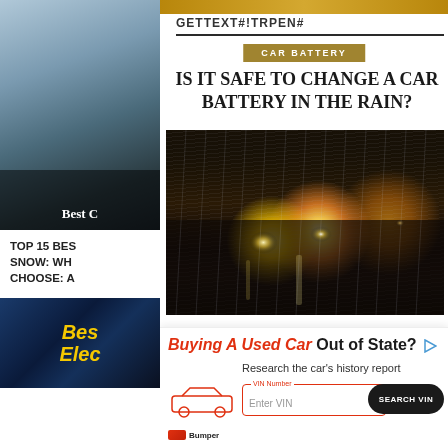[Figure (photo): Sidebar top: snowy/wintry scene with cars, partially visible]
Best C...
TOP 15 BES... SNOW: WH... CHOOSE: A...
[Figure (photo): Sidebar bottom: yellow italic text 'Bes Elec' on dark blue background]
GETTEXT#!TRPEN#
CAR BATTERY
IS IT SAFE TO CHANGE A CAR BATTERY IN THE RAIN?
[Figure (photo): Night-time rainy road scene with cars and headlights reflecting off wet pavement]
Buying A Used Car Out of State? Research the car's history report VIN Number Enter VIN SEARCH VIN Bumper